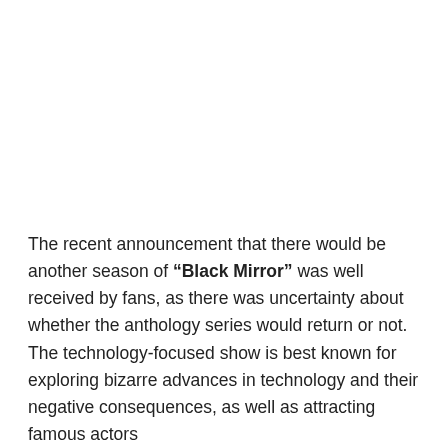The recent announcement that there would be another season of "Black Mirror" was well received by fans, as there was uncertainty about whether the anthology series would return or not. The technology-focused show is best known for exploring bizarre advances in technology and their negative consequences, as well as attracting famous actors